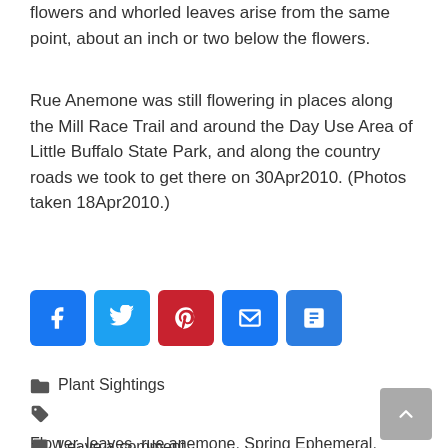flowers and whorled leaves arise from the same point, about an inch or two below the flowers.
Rue Anemone was still flowering in places along the Mill Race Trail and around the Day Use Area of Little Buffalo State Park, and along the country roads we took to get there on 30Apr2010. (Photos taken 18Apr2010.)
[Figure (other): Social sharing buttons: Facebook, Twitter, Pinterest, Email, Share]
Plant Sightings
Flower, leaves, rue anemone, Spring Ephemeral, windflower
Leave a comment